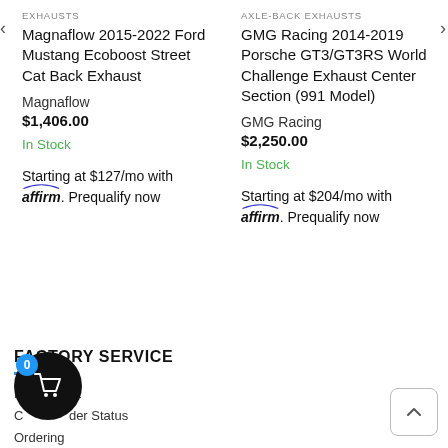EXHAUSTS
Magnaflow 2015-2022 Ford Mustang Ecoboost Street Cat Back Exhaust
Magnaflow
$1,406.00
In Stock
Starting at $127/mo with affirm. Prequalify now
AXLE-BACK EXHAUSTS
GMG Racing 2014-2019 Porsche GT3/GT3RS World Challenge Exhaust Center Section (991 Model)
GMG Racing
$2,250.00
In Stock
Starting at $204/mo with affirm. Prequalify now
FACTORY SERVICE
My Account
Check Order Status
Ordering